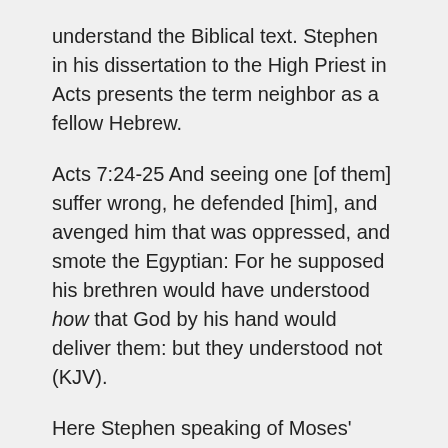understand the Biblical text. Stephen in his dissertation to the High Priest in Acts presents the term neighbor as a fellow Hebrew.
Acts 7:24-25 And seeing one [of them] suffer wrong, he defended [him], and avenged him that was oppressed, and smote the Egyptian: For he supposed his brethren would have understood how that God by his hand would deliver them: but they understood not (KJV).
Here Stephen speaking of Moses' issue attempting to defend another Jew against an Egyptian calls the Jew a neighbor (brethren). Fellow Christians are referred to as neighbors in the New Testament (Romans 15:2; Eph. 4:25; James 4:11-12). This is consistent with the context of which Jesus referenced Leviticus 19 talking about fellow Christians. He means other Christians are neighbors. Christ in the same passage of